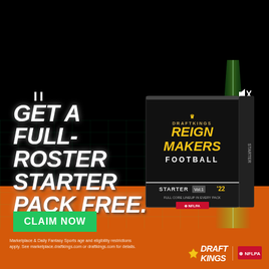[Figure (illustration): DraftKings ReignMakers Football advertisement. Dark background with orange lower section. Shows a product box labeled 'DraftKings REIGN MAKERS FOOTBALL STARTER Vol.1 22 Full Core Lineup in Every Pack NFLPA'. Green diagonal light beam on right side. Grid pattern overlay on dark area. Pause (II) and mute (speaker with X) player controls visible at top. Large white bold italic headline 'GET A FULL-ROSTER STARTER PACK FREE.' on left side. Green 'CLAIM NOW' button. DraftKings and NFLPA logos at bottom right. Disclaimer text at bottom left.]
GET A FULL-ROSTER STARTER PACK FREE.
CLAIM NOW
Marketplace & Daily Fantasy Sports age and eligibility restrictions apply. See marketplace.draftkings.com or draftkings.com for details.